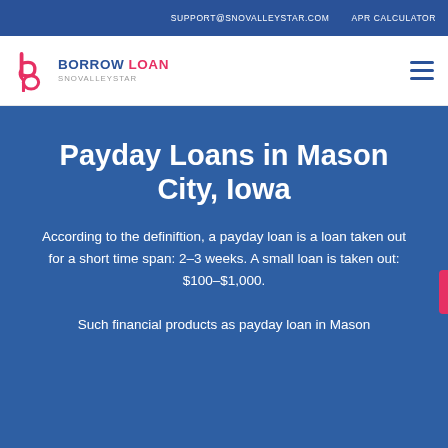SUPPORT@SNOVALLEYSTAR.COM   APR CALCULATOR
[Figure (logo): Borrow Loan Snovalleystar logo with stylized b/p icon in pink and blue]
Payday Loans in Mason City, Iowa
According to the definiftion, a payday loan is a loan taken out for a short time span: 2–3 weeks. A small loan is taken out: $100–$1,000.
Such financial products as payday loan in Mason